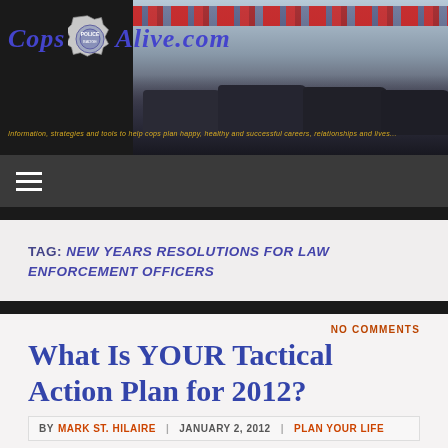[Figure (screenshot): Cops Alive website header banner with logo showing badge between 'Cops' and 'Alive.com' text in blue italic font, police cars with red lights in background, tagline text at bottom]
[Figure (screenshot): Navigation bar with hamburger menu icon (three horizontal lines) on dark gray background]
TAG: NEW YEARS RESOLUTIONS FOR LAW ENFORCEMENT OFFICERS
NO COMMENTS
What Is YOUR Tactical Action Plan for 2012?
BY MARK ST. HILAIRE   JANUARY 2, 2012   PLAN YOUR LIFE
Editors Note: Please join me in welcoming our newest contributor Sgt. Mark St. Hilaire as he leads us off for a